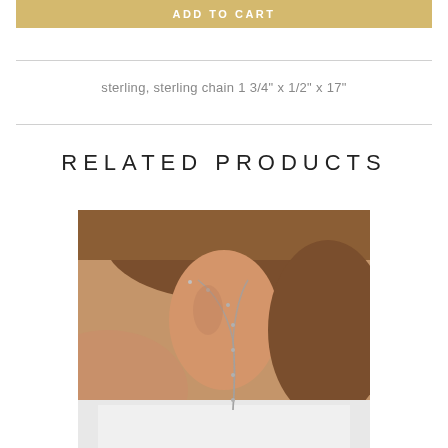ADD TO CART
sterling, sterling chain 1 3/4" x 1/2" x 17"
RELATED PRODUCTS
[Figure (photo): Woman wearing a silver chain necklace with a lariat style drop, wearing a white strapless top, photographed from the neck/shoulder area]